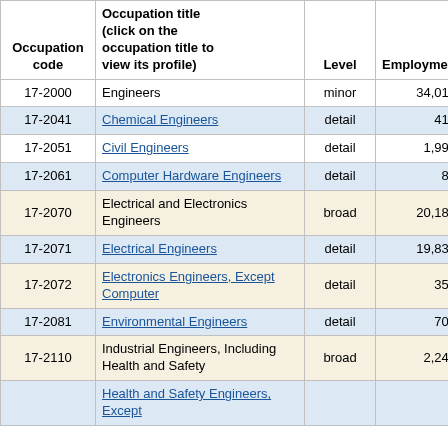| Occupation code | Occupation title (click on the occupation title to view its profile) | Level | Employment | Employment RSE |
| --- | --- | --- | --- | --- |
| 17-2000 | Engineers | minor | 34,010 | 1 |
| 17-2041 | Chemical Engineers | detail | 410 | 7 |
| 17-2051 | Civil Engineers | detail | 1,990 | 3 |
| 17-2061 | Computer Hardware Engineers | detail | 80 | 24 |
| 17-2070 | Electrical and Electronics Engineers | broad | 20,180 | 1 |
| 17-2071 | Electrical Engineers | detail | 19,830 | 1 |
| 17-2072 | Electronics Engineers, Except Computer | detail | 350 | 3 |
| 17-2081 | Environmental Engineers | detail | 700 | 8 |
| 17-2110 | Industrial Engineers, Including Health and Safety | broad | 2,240 | 3 |
|  | Health and Safety Engineers, Except... |  |  |  |